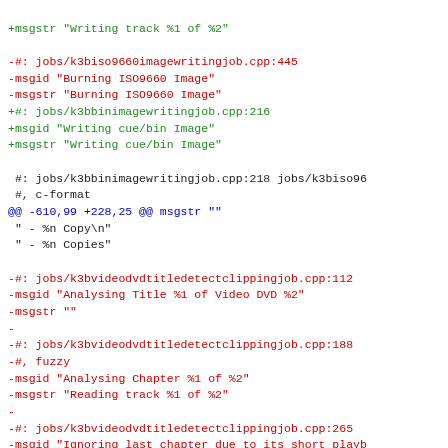+msgstr "Writing track %1 of %2"

-#: jobs/k3biso9660imagewritingjob.cpp:445
-msgid "Burning ISO9660 Image"
-msgstr "Burning ISO9660 Image"
+#: jobs/k3bbinimagewritingjob.cpp:216
+msgid "Writing cue/bin Image"
+msgstr "Writing cue/bin Image"

 #: jobs/k3bbinimagewritingjob.cpp:218 jobs/k3biso96
 #, c-format
@@ -610,99 +228,25 @@ msgstr ""
 " - %n Copy\n"
 " - %n Copies"

-#: jobs/k3bvideodvdtitledetectclippingjob.cpp:112
-msgid "Analysing Title %1 of Video DVD %2"
-msgstr ""
-
-#: jobs/k3bvideodvdtitledetectclippingjob.cpp:188
-#, fuzzy
-msgid "Analysing Chapter %1 of %2"
-msgstr "Reading track %1 of %2"
-
-#: jobs/k3bvideodvdtitledetectclippingjob.cpp:265
-msgid "Ignoring last chapter due to its short playb
-msgstr ""
-
-#: jobs/k3bclonejob.cpp:94
-msgid "Cdrecord version %1 does not have cloning su